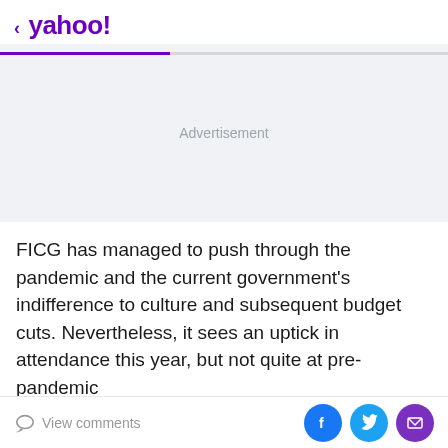< yahoo!
[Figure (other): Advertisement placeholder area with light gray background and 'Advertisement' label text centered]
FICG has managed to push through the pandemic and the current government's indifference to culture and subsequent budget cuts. Nevertheless, it sees an uptick in attendance this year, but not quite at pre-pandemic
View comments | Facebook | Twitter | Mail